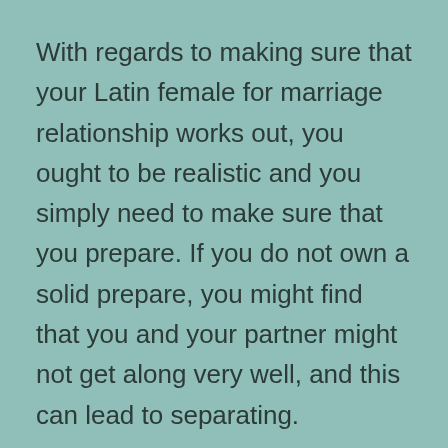With regards to making sure that your Latin female for marriage relationship works out, you ought to be realistic and you simply need to make sure that you prepare. If you do not own a solid prepare, you might find that you and your partner might not get along very well, and this can lead to separating.
When planning for your marriage, it is always a good idea to have some type of communication just before you have sex. You need to build a plan of actions for evening time to make sure that you are both satisfied with